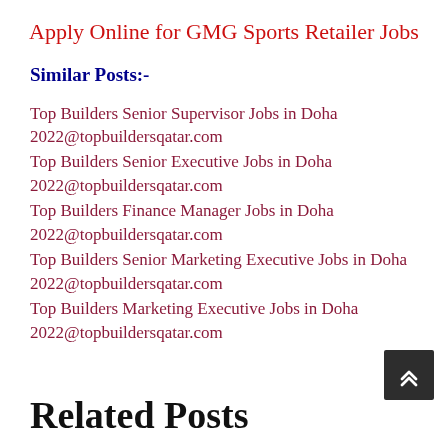Apply Online for GMG Sports Retailer Jobs
Similar Posts:-
Top Builders Senior Supervisor Jobs in Doha 2022@topbuildersqatar.com
Top Builders Senior Executive Jobs in Doha 2022@topbuildersqatar.com
Top Builders Finance Manager Jobs in Doha 2022@topbuildersqatar.com
Top Builders Senior Marketing Executive Jobs in Doha 2022@topbuildersqatar.com
Top Builders Marketing Executive Jobs in Doha 2022@topbuildersqatar.com
Related Posts